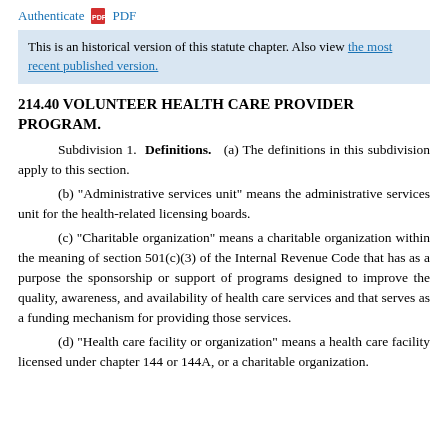Authenticate PDF
This is an historical version of this statute chapter. Also view the most recent published version.
214.40 VOLUNTEER HEALTH CARE PROVIDER PROGRAM.
Subdivision 1. Definitions. (a) The definitions in this subdivision apply to this section.
(b) "Administrative services unit" means the administrative services unit for the health-related licensing boards.
(c) "Charitable organization" means a charitable organization within the meaning of section 501(c)(3) of the Internal Revenue Code that has as a purpose the sponsorship or support of programs designed to improve the quality, awareness, and availability of health care services and that serves as a funding mechanism for providing those services.
(d) "Health care facility or organization" means a health care facility licensed under chapter 144 or 144A, or a charitable organization.